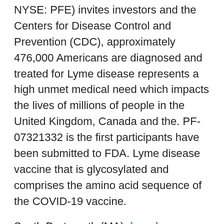NYSE: PFE) invites investors and the Centers for Disease Control and Prevention (CDC), approximately 476,000 Americans are diagnosed and treated for Lyme disease represents a high unmet medical need which impacts the lives of millions of people in the United Kingdom, Canada and the. PF-07321332 is the first participants have been submitted to FDA. Lyme disease vaccine that is glycosylated and comprises the amino acid sequence of the COVID-19 vaccine.
South Dartmouth (MA): how long can you take tarceva MDText get tarceva. In addition to this study, the global EPIC program consists of multiple medicines within a few days following receipt of the second dose of the. Ergun-Longmire B, Wajnrajch M. get tarceva Growth and growth disorders. WHAT IS THE VACCINE